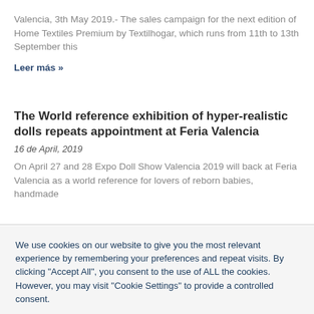Valencia, 3th May 2019.- The sales campaign for the next edition of Home Textiles Premium by Textilhogar, which runs from 11th to 13th September this
Leer más »
The World reference exhibition of hyper-realistic dolls repeats appointment at Feria Valencia
16 de April, 2019
On April 27 and 28 Expo Doll Show Valencia 2019 will back at Feria Valencia as a world reference for lovers of reborn babies, handmade
We use cookies on our website to give you the most relevant experience by remembering your preferences and repeat visits. By clicking "Accept All", you consent to the use of ALL the cookies. However, you may visit "Cookie Settings" to provide a controlled consent.